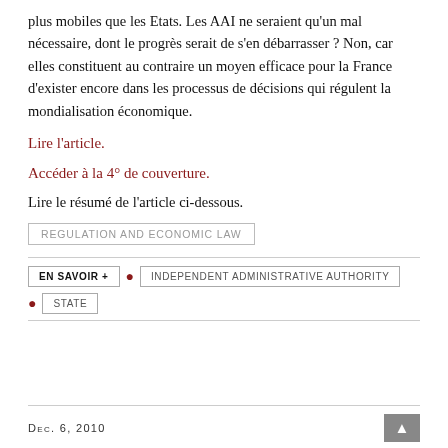plus mobiles que les Etats. Les AAI ne seraient qu'un mal nécessaire, dont le progrès serait de s'en débarrasser ? Non, car elles constituent au contraire un moyen efficace pour la France d'exister encore dans les processus de décisions qui régulent la mondialisation économique.
Lire l'article.
Accéder à la 4° de couverture.
Lire le résumé de l'article ci-dessous.
REGULATION AND ECONOMIC LAW
EN SAVOIR +
INDEPENDENT ADMINISTRATIVE AUTHORITY
STATE
Dec. 6, 2010